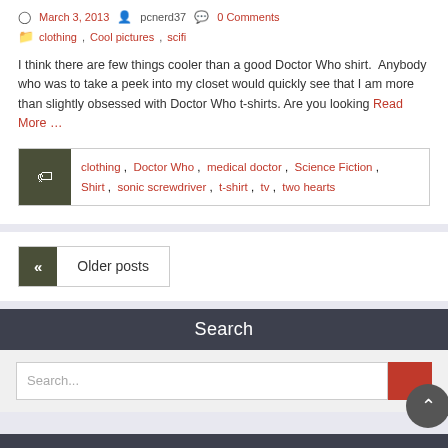March 3, 2013   pcnerd37   0 Comments
clothing, Cool pictures, scifi
I think there are few things cooler than a good Doctor Who shirt.  Anybody who was to take a peek into my closet would quickly see that I am more than slightly obsessed with Doctor Who t-shirts. Are you looking Read More …
clothing ,  Doctor Who ,  medical doctor ,  Science Fiction ,  Shirt ,  sonic screwdriver ,  t-shirt ,  tv ,  two hearts
« Older posts
Search
Search...